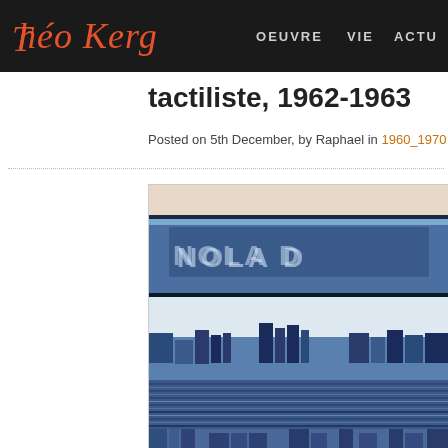Théo Kerg — OEUVRE  VIE  ACTU
tactiliste, 1962-1963
Posted on 5th December, by Raphael in 1960_1970
[Figure (photo): Close-up photograph of a tactiliste painting by Théo Kerg from 1962-1963, featuring blue and white textured paint with carved or impressed lettering at top and horizontal layered brushwork below, with sculptural raised elements in the middle section.]